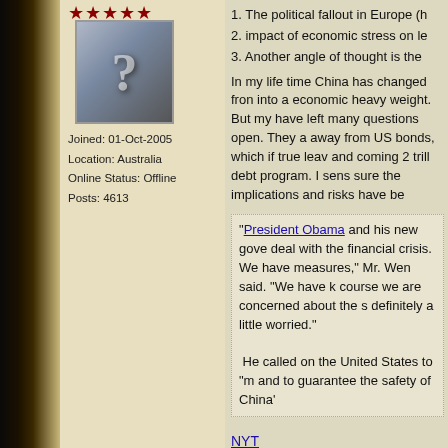[Figure (illustration): Star rating icons (partial stars, dark red) at the top of the user profile column]
[Figure (photo): Avatar image: grey silhouette of a person with a question mark overlay]
Joined: 01-Oct-2005
Location: Australia
Online Status: Offline
Posts: 4613
1. The political fallout in Europe (k...
2. impact of economic stress on le...
3. Another angle of thought is the...
In my life time China has changed fron into a economic heavy weight. But my have left many questions open. They a away from US bonds, which if true leav and coming 2 trill debt program. I sens sure the implications and risks have be
“President Obama and his new gove deal with the financial crisis. We have measures,” Mr. Wen said. “We have k course we are concerned about the s definitely a little worried.”

 He called on the United States to “m and to guarantee the safety of China'
NYT
Edited by Leonidas - 13-Mar-2009 at 13:23